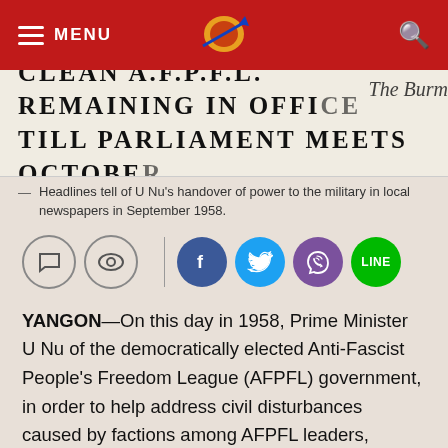MENU [nav bar with logo and search]
[Figure (photo): Newspaper headline image reading: CLEAN A.F.P.F.L. REMAINING IN OFFICE TILL PARLIAMENT MEETS OCTOBER with The Burma newspaper logo visible at right]
— Headlines tell of U Nu's handover of power to the military in local newspapers in September 1958.
[Figure (infographic): Social sharing icons row: comment bubble, eye/view icon, vertical divider, Facebook (blue), Twitter (light blue), Viber (purple), Line (green)]
YANGON—On this day in 1958, Prime Minister U Nu of the democratically elected Anti-Fascist People's Freedom League (AFPFL) government, in order to help address civil disturbances caused by factions among AFPFL leaders, handed over power to the Myanmar military led by General Ne Win, and asked him to organize a free and fair election for the sake of the country.